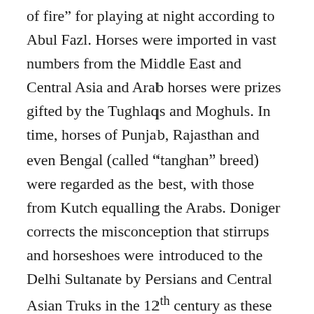of fire” for playing at night according to Abul Fazl. Horses were imported in vast numbers from the Middle East and Central Asia and Arab horses were prizes gifted by the Tughlaqs and Moghuls. In time, horses of Punjab, Rajasthan and even Bengal (called “tanghan” breed) were regarded as the best, with those from Kutch equalling the Arabs. Doniger corrects the misconception that stirrups and horseshoes were introduced to the Delhi Sultanate by Persians and Central Asian Truks in the 12th century as these are seen in sculptures from the 1st century BCE in Sanchi and in c. 950 CE at Khajuraho. The most skilled equestrians were, of course, the Rajputs and their ballads (Pabuji, Devnarayan, Desingh, Gugga) replace epic chariot warriors by mare-